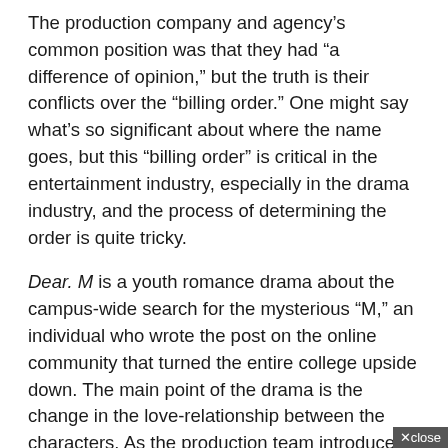The production company and agency's common position was that they had "a difference of opinion," but the truth is their conflicts over the "billing order." One might say what's so significant about where the name goes, but this "billing order" is critical in the entertainment industry, especially in the drama industry, and the process of determining the order is quite tricky.
Dear. M is a youth romance drama about the campus-wide search for the mysterious "M," an individual who wrote the post on the online community that turned the entire college upside down. The main point of the drama is the change in the love-relationship between the characters. As the production team introduced, Kim Sae Ron and Ba Hyun Sung are the main characters and key figures in Dear. M that continues the worldview of Love Playlist. NCT's Jaehyun and Park Hye Soo are